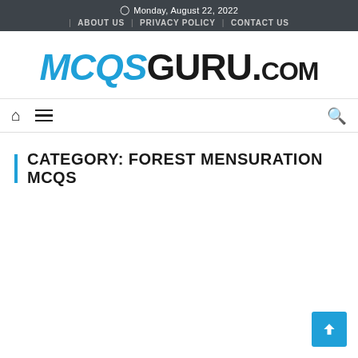Monday, August 22, 2022 | ABOUT US | PRIVACY POLICY | CONTACT US
[Figure (logo): MCQSGuru.com logo with MCQS in blue italic and GURU.com in black bold]
[Figure (infographic): Navigation bar with home icon, hamburger menu icon, and search icon]
CATEGORY: FOREST MENSURATION MCQS